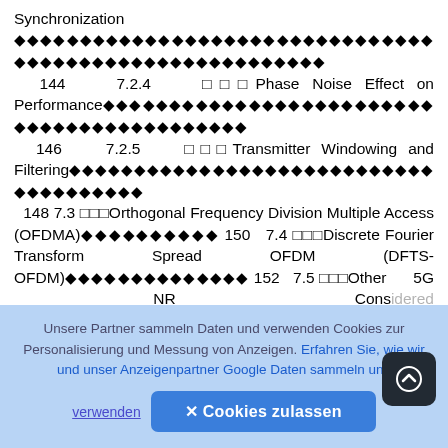Synchronization ◆◆◆◆◆◆◆◆◆◆◆◆◆◆◆◆◆◆◆◆◆◆◆◆◆◆◆◆◆◆◆◆◆◆◆◆◆◆◆◆◆◆◆◆◆◆◆◆◆◆  144  7.2.4  □□□Phase Noise Effect on Performance◆◆◆◆◆◆◆◆◆◆◆◆◆◆◆◆◆◆◆◆◆◆◆◆◆◆◆◆◆◆◆◆◆◆◆◆◆◆  146  7.2.5  □□□Transmitter Windowing and Filtering◆◆◆◆◆◆◆◆◆◆◆◆◆◆◆◆◆◆◆◆◆◆◆◆◆◆◆◆◆◆◆◆  148 7.3 □□□Orthogonal Frequency Division Multiple Access (OFDMA)◆◆◆◆◆◆◆◆◆◆ 150  7.4 □□□Discrete Fourier Transform Spread OFDM (DFTS-OFDM)◆◆◆◆◆◆◆◆◆◆◆◆◆◆ 152  7.5 □□□Other 5G NR Candidate Waveforms◆◆◆◆◆◆◆◆◆◆◆◆◆◆◆◆◆◆◆◆◆◆◆◆◆  157  7.5.1  □□□Filter Bank Multi-carrier (FBMC)◆◆◆◆◆◆◆◆◆◆◆◆◆◆◆◆◆◆◆◆◆◆◆◆◆◆◆◆◆◆
Unsere Partner sammeln Daten und verwenden Cookies zur Personalisierung und Messung von Anzeigen. Erfahren Sie, wie wir und unser Anzeigenpartner Google Daten sammeln und verwenden
✕ Cookies zulassen